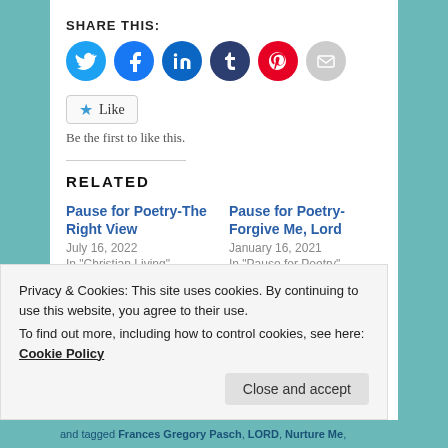SHARE THIS:
[Figure (infographic): Row of social share icon circles: Twitter (blue), Facebook (blue), LinkedIn (teal), Tumblr (dark navy), Pinterest (red), Email (grey)]
Like
Be the first to like this.
RELATED
Pause for Poetry-The Right View
July 16, 2022
In "Christian Living"
Pause for Poetry-Forgive Me, Lord
January 16, 2021
In "Pause for Poetry"
Privacy & Cookies: This site uses cookies. By continuing to use this website, you agree to their use.
To find out more, including how to control cookies, see here: Cookie Policy
Close and accept
and tagged Frances Gregory Pasch, LORD, Nurture Me,